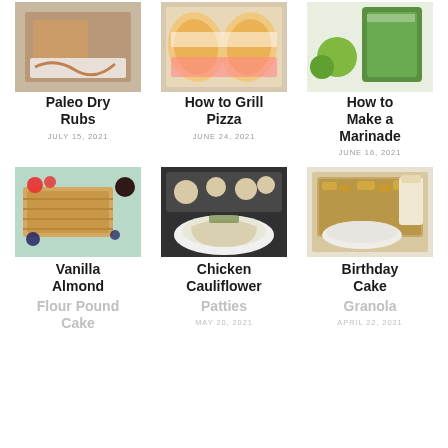[Figure (photo): Photo of Paleo Dry Rubs dish on a tray]
Paleo Dry Rubs
JULY 15, 2021
[Figure (photo): Photo of grilled pizza slices]
How to Grill Pizza
JUNE 24, 2021
[Figure (photo): Photo of marinade ingredients including green bag and herbs]
How to Make a Marinade
JUNE 16, 2021
[Figure (photo): Photo of sliced vanilla almond flour pound cake with berries]
Vanilla Almond Flour Pound Cake
[Figure (photo): Photo of chicken cauliflower patties on a baking sheet and in a bowl]
Chicken Cauliflower Patties
MAY 20, 2021
[Figure (photo): Photo of birthday cake granola in bowls]
Birthday Cake Granola
APRIL 22, 2021